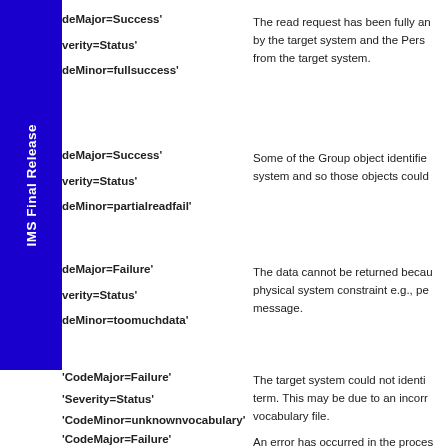'CodeMajor=Success'
'Severity=Status'
'CodeMinor=fullsuccess'
The read request has been fully answered by the target system and the Person/Group data was returned from the target system.
'CodeMajor=Success'
'Severity=Status'
'CodeMinor=partialreadfail'
Some of the Group object identifiers were not known to the target system and so those objects could not be returned.
'CodeMajor=Failure'
'Severity=Status'
'CodeMinor=toomuchdata'
The data cannot be returned because of a physical system constraint e.g., per message.
'CodeMajor=Failure'
'Severity=Status'
'CodeMinor=unknownvocabulary'
The target system could not identify the term. This may be due to an incorrect vocabulary file.
'CodeMajor=Failure'
An error has occurred in the process...